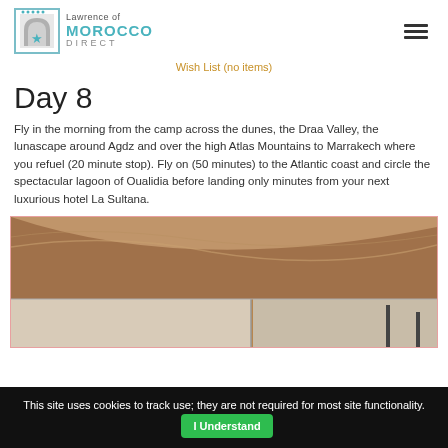Lawrence of Morocco Direct
Wish List (no items)
Day 8
Fly in the morning from the camp across the dunes, the Draa Valley, the lunascape around Agdz and over the high Atlas Mountains to Marrakech where you refuel (20 minute stop).  Fly on (50 minutes) to the Atlantic coast and circle the spectacular lagoon of Oualidia before landing only minutes from your next luxurious hotel La Sultana.
[Figure (photo): Aerial photo view of desert dunes and sandy landscape with a structure visible at the bottom]
This site uses cookies to track use; they are not required for most site functionality.  I Understand